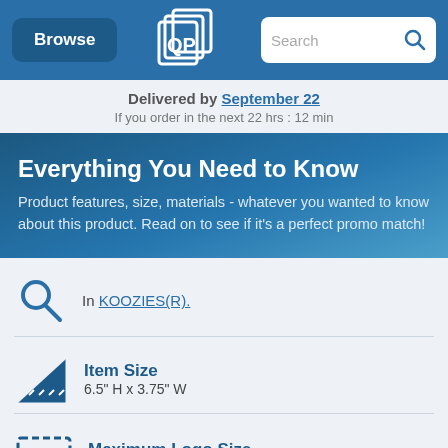[Figure (screenshot): Navigation bar with Browse button, QLP logo, and Search bar]
Delivered by September 22
If you order in the next 22 hrs : 12 min
Everything You Need to Know
Product features, size, materials - whatever you wanted to know about this product. Read on to see if it's a perfect promo match!
In KOOZIES(R).
Item Size
6.5" H x 3.75" W
Maximum Logo Size
4" H x 2.5" W - Screen Print